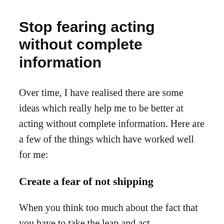Stop fearing acting without complete information
Over time, I have realised there are some ideas which really help me to be better at acting without complete information. Here are a few of the things which have worked well for me:
Create a fear of not shipping
When you think too much about the fact that you have to take the leap and act